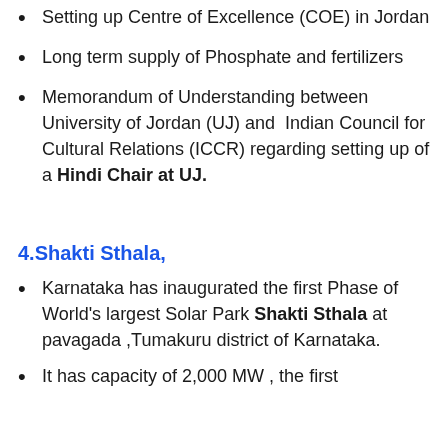Setting up Centre of Excellence (COE) in Jordan
Long term supply of Phosphate and fertilizers
Memorandum of Understanding between University of Jordan (UJ) and Indian Council for Cultural Relations (ICCR) regarding setting up of a Hindi Chair at UJ.
4.Shakti Sthala,
Karnataka has inaugurated the first Phase of World's largest Solar Park Shakti Sthala at pavagada ,Tumakuru district of Karnataka.
It has capacity of 2,000 MW , the first